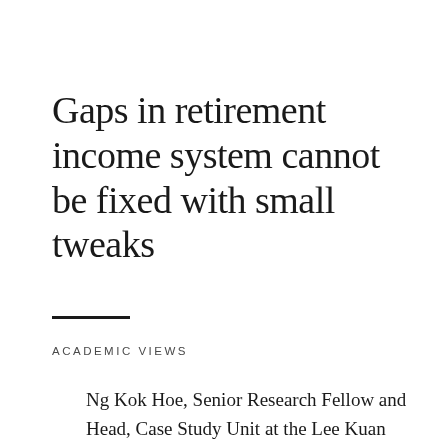Gaps in retirement income system cannot be fixed with small tweaks
ACADEMIC VIEWS
Ng Kok Hoe, Senior Research Fellow and Head, Case Study Unit at the Lee Kuan Yew School of Public Policy, considers the implications of recent Budget announcements for achieving retirement income security in Singapore. Income security for older people was one of the major themes